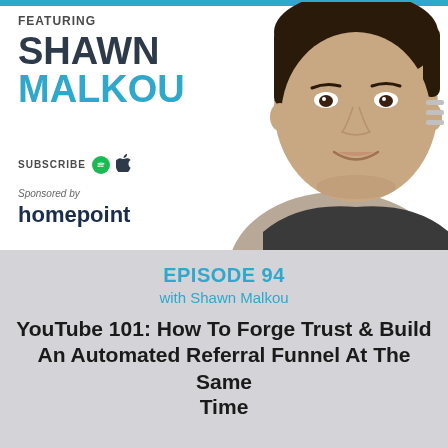[Figure (photo): Headshot photo of Shawn Malkou, a young man with dark hair smiling, wearing a dark speckled polo shirt, against a white background]
FEATURING
SHAWN MALKOU
SUBSCRIBE
Sponsored by
homepoint
EPISODE 94
with Shawn Malkou
YouTube 101: How To Forge Trust & Build An Automated Referral Funnel At The Same Time